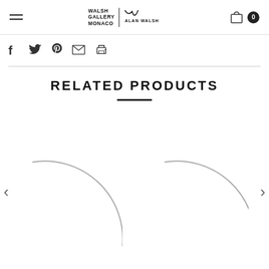Walsh Gallery Monaco | Alan Walsh — navigation header with hamburger menu and cart
[Figure (other): Social sharing icons: Facebook, Twitter, Pinterest, Email, Print]
RELATED PRODUCTS
[Figure (illustration): Two product thumbnail images showing partial circular arc shapes (loading or artwork previews), with left and right carousel navigation arrows]